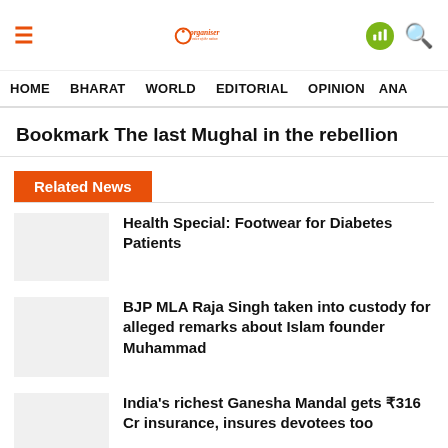Organiser - Voice of the Nation
HOME  BHARAT  WORLD  EDITORIAL  OPINION  ANA
Bookmark The last Mughal in the rebellion
Related News
Health Special: Footwear for Diabetes Patients
BJP MLA Raja Singh taken into custody for alleged remarks about Islam founder Muhammad
India's richest Ganesha Mandal gets ₹316 Cr insurance, insures devotees too